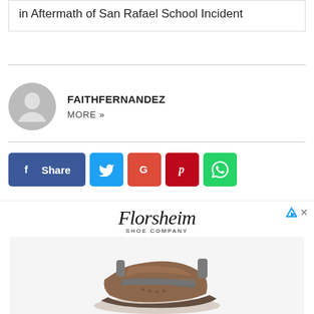in Aftermath of San Rafael School Incident
FAITHFERNANDEZ
MORE »
[Figure (infographic): Social sharing buttons: Facebook Share, Twitter, Google+, Pinterest, WhatsApp]
[Figure (photo): Florsheim Shoe Company advertisement showing a brown leather sandal/shoe]